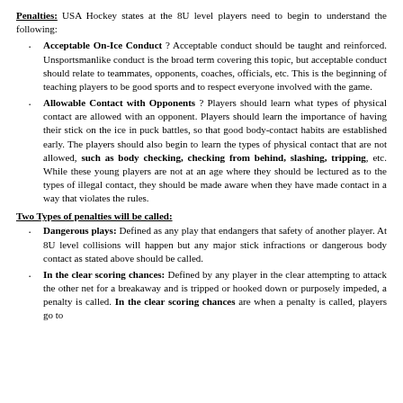Penalties: USA Hockey states at the 8U level players need to begin to understand the following:
Acceptable On-Ice Conduct ? Acceptable conduct should be taught and reinforced. Unsportsmanlike conduct is the broad term covering this topic, but acceptable conduct should relate to teammates, opponents, coaches, officials, etc. This is the beginning of teaching players to be good sports and to respect everyone involved with the game.
Allowable Contact with Opponents ? Players should learn what types of physical contact are allowed with an opponent. Players should learn the importance of having their stick on the ice in puck battles, so that good body-contact habits are established early. The players should also begin to learn the types of physical contact that are not allowed, such as body checking, checking from behind, slashing, tripping, etc. While these young players are not at an age where they should be lectured as to the types of illegal contact, they should be made aware when they have made contact in a way that violates the rules.
Two Types of penalties will be called:
Dangerous plays: Defined as any play that endangers that safety of another player. At 8U level collisions will happen but any major stick infractions or dangerous body contact as stated above should be called.
In the clear scoring chances: Defined by any player in the clear attempting to attack the other net for a breakaway and is tripped or hooked down or purposely impeded, a penalty is called. In the clear scoring chances are when a penalty is called, players go to